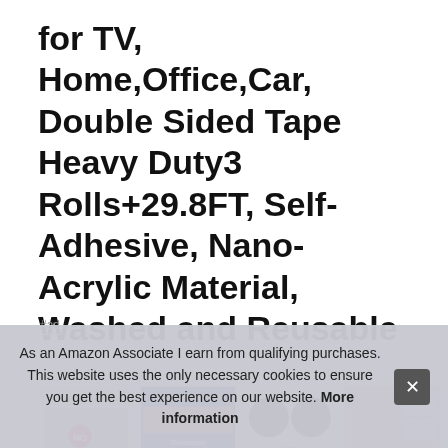for TV, Home,Office,Car, Double Sided Tape Heavy Duty3 Rolls+29.8FT, Self-Adhesive, Nano-Acrylic Material, Washed and Reusable
#ad
[Figure (screenshot): Row of four product thumbnail images showing double-sided tape usage scenarios: no-drill wall mounting, bathroom/decorative/office tile applications, material close-ups, and home interior scene.]
As an Amazon Associate I earn from qualifying purchases. This website uses the only necessary cookies to ensure you get the best experience on our website. More information